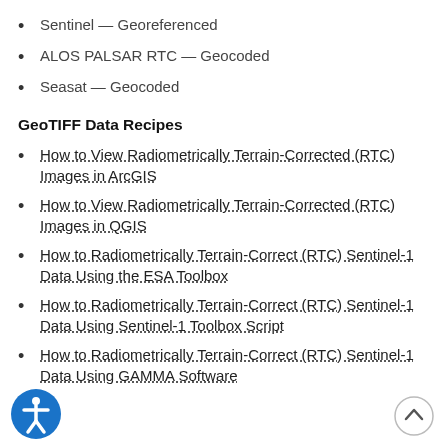Sentinel — Georeferenced
ALOS PALSAR RTC — Geocoded
Seasat — Geocoded
GeoTIFF Data Recipes
How to View Radiometrically Terrain-Corrected (RTC) Images in ArcGIS
How to View Radiometrically Terrain-Corrected (RTC) Images in QGIS
How to Radiometrically Terrain-Correct (RTC) Sentinel-1 Data Using the ESA Toolbox
How to Radiometrically Terrain-Correct (RTC) Sentinel-1 Data Using Sentinel-1 Toolbox Script
How to Radiometrically Terrain-Correct (RTC) Sentinel-1 Data Using GAMMA Software